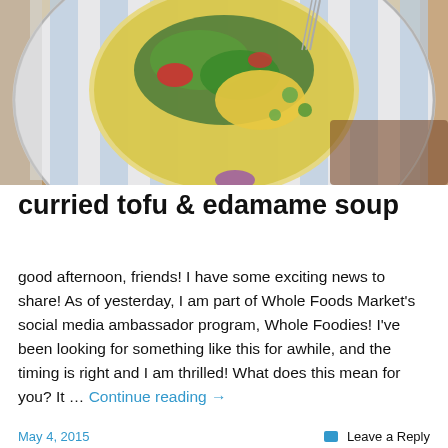[Figure (photo): Overhead view of a bowl of curried tofu and edamame soup on a blue and white striped plate, placed on a wooden table. The soup contains green scallions, corn, edamame, and red peppers in a yellow broth.]
curried tofu & edamame soup
good afternoon, friends! I have some exciting news to share! As of yesterday, I am part of Whole Foods Market's social media ambassador program, Whole Foodies! I've been looking for something like this for awhile, and the timing is right and I am thrilled! What does this mean for you? It … Continue reading →
May 4, 2015    Leave a Reply